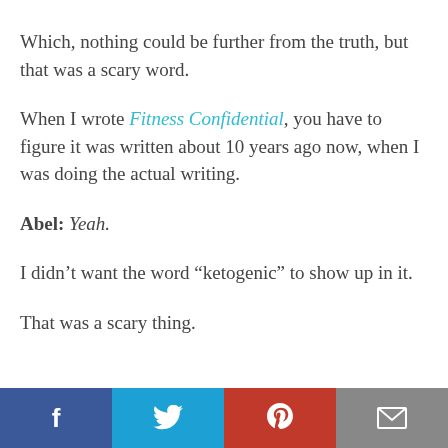Which, nothing could be further from the truth, but that was a scary word.
When I wrote Fitness Confidential, you have to figure it was written about 10 years ago now, when I was doing the actual writing.
Abel: Yeah.
I didn’t want the word “ketogenic” to show up in it.
That was a scary thing.
[Figure (infographic): Social sharing bar with Facebook, Twitter, Pinterest, and email buttons]